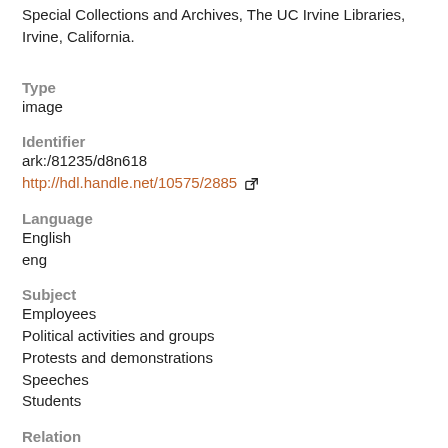Special Collections and Archives, The UC Irvine Libraries, Irvine, California.
Type
image
Identifier
ark:/81235/d8n618
http://hdl.handle.net/10575/2885
Language
English
eng
Subject
Employees
Political activities and groups
Protests and demonstrations
Speeches
Students
Relation